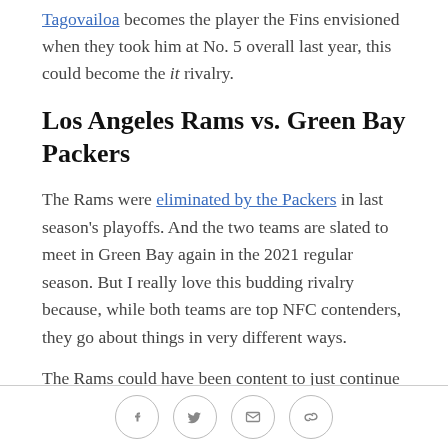Tagovailoa becomes the player the Fins envisioned when they took him at No. 5 overall last year, this could become the it rivalry.
Los Angeles Rams vs. Green Bay Packers
The Rams were eliminated by the Packers in last season's playoffs. And the two teams are slated to meet in Green Bay again in the 2021 regular season. But I really love this budding rivalry because, while both teams are top NFC contenders, they go about things in very different ways.
The Rams could have been content to just continue riding with Jared Goff. The rationale would have been
Social share icons: Facebook, Twitter, Email, Link